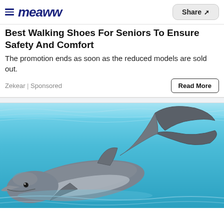Meaww | Share
Best Walking Shoes For Seniors To Ensure Safety And Comfort
The promotion ends as soon as the reduced models are sold out.
Zekear | Sponsored
[Figure (photo): A bottlenose dolphin swimming in a bright blue aquarium pool, with its tail raised out of the water and face visible near the surface.]